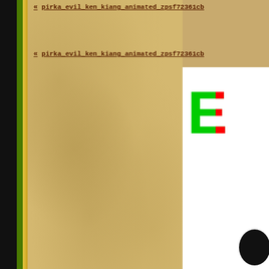« pirka_evil_ken_kiang_animated_zpsf72361cb
« pirka_evil_ken_kiang_animated_zpsf72361cb
[Figure (other): White panel with large bold letter E in red/green colors and a dark circular figure at bottom right]